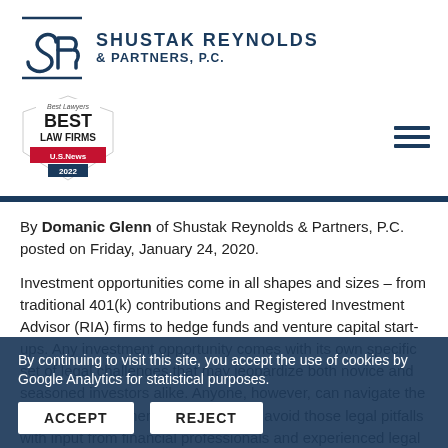[Figure (logo): Shustak Reynolds & Partners, P.C. law firm logo with SR monogram and firm name]
[Figure (logo): U.S. News Best Law Firms 2022 badge]
By Domanic Glenn of Shustak Reynolds & Partners, P.C. posted on Friday, January 24, 2020.
Investment opportunities come in all shapes and sizes – from traditional 401(k) contributions and Registered Investment Advisor (RIA) firms to hedge funds and venture capital start-ups. Any investment opportunity comes with its own specific set of legal challenges that may jeopardize both novice and seasoned investors alike. Anyone, however, can navigate the uncertain investment landscape and avoid those legal pitfalls with input from financial professionals and experienced legal counsel.
By continuing to visit this site, you accept the use of cookies by Google Analytics for statistical purposes.